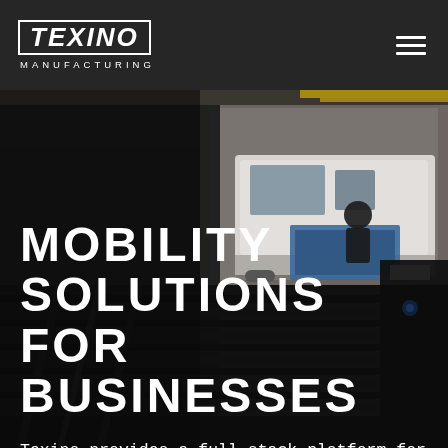[Figure (photo): Industrial manufacturing facility interior with vehicles, steel components on conveyor, workers in background. Dark industrial setting.]
TEXINO MANUFACTURING
MOBILITY SOLUTIONS FOR BUSINESSES
Texino provides a full-stack platform for mobile fleet solutions. From concept and design to manufacturing and financing. Whether you have a back-of-the-napkin idea or fully fledged